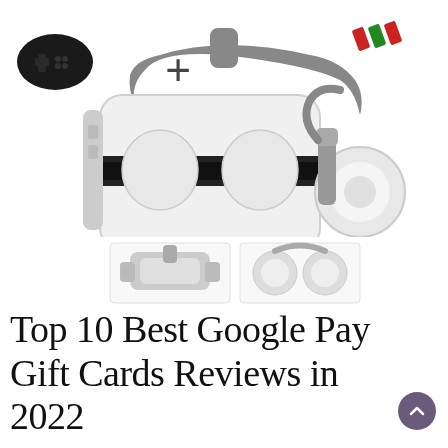[Figure (photo): VR headset with headphones shown from front-left angle, with a small game controller to the upper left connected by a '+' sign. A small logo is visible in the upper right corner. Below the main image are two smaller thumbnail views: one showing the headset from above/back, and another showing the headphones detail.]
Top 10 Best Google Pay Gift Cards Reviews in 2022